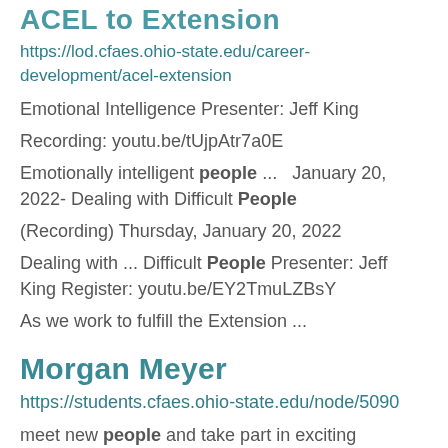ACEL to Extension
https://lod.cfaes.ohio-state.edu/career-development/acel-extension
Emotional Intelligence Presenter: Jeff King Recording: youtu.be/tUjpAtr7a0E Emotionally intelligent people ... January 20, 2022- Dealing with Difficult People (Recording) Thursday, January 20, 2022 Dealing with ... Difficult People Presenter: Jeff King Register: youtu.be/EY2TmuLZBsY As we work to fulfill the Extension ...
Morgan Meyer
https://students.cfaes.ohio-state.edu/node/5090
meet new people and take part in exciting